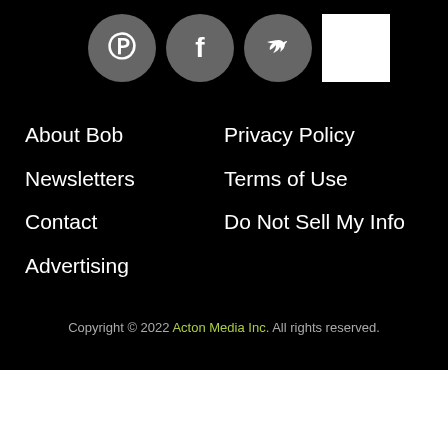[Figure (infographic): Social media icon buttons: Pinterest (P), Facebook (f), Twitter (bird), and a white square button, displayed in a row on a black background.]
About Bob
Newsletters
Contact
Advertising
Privacy Policy
Terms of Use
Do Not Sell My Info
Copyright © 2022 Acton Media Inc. All rights reserved.